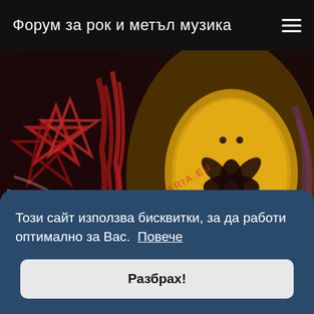Форум за рок и метъл музика
[Figure (photo): Abstract metal/rock album art with red swirling patterns, dark background, golden mask-like face with black floral motifs, and pink/purple swirling shapes. Watermark text 'ALBULGARIA.EU' visible diagonally.]
Този сайт използва бисквитки, за да работи оптимално за Вас.  Повече
Разбрах!